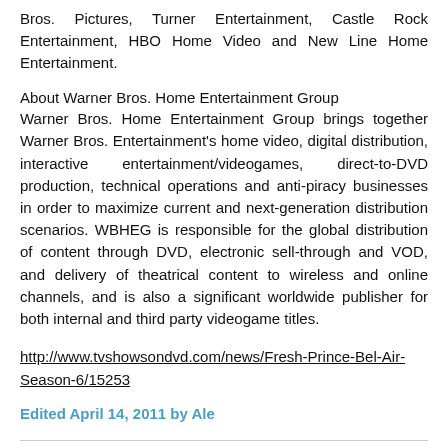Bros. Pictures, Turner Entertainment, Castle Rock Entertainment, HBO Home Video and New Line Home Entertainment.
About Warner Bros. Home Entertainment Group
Warner Bros. Home Entertainment Group brings together Warner Bros. Entertainment's home video, digital distribution, interactive entertainment/videogames, direct-to-DVD production, technical operations and anti-piracy businesses in order to maximize current and next-generation distribution scenarios. WBHEG is responsible for the global distribution of content through DVD, electronic sell-through and VOD, and delivery of theatrical content to wireless and online channels, and is also a significant worldwide publisher for both internal and third party videogame titles.
http://www.tvshowsondvd.com/news/Fresh-Prince-Bel-Air-Season-6/15253
Edited April 14, 2011 by Ale
+ Quote